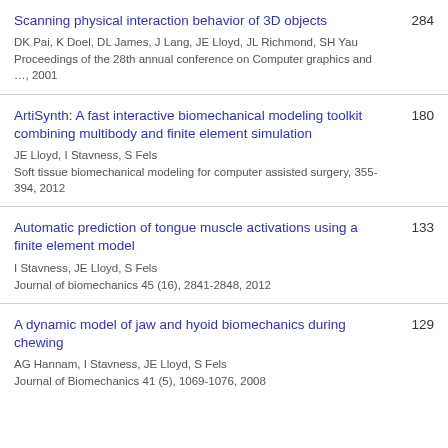Scanning physical interaction behavior of 3D objects
DK Pai, K Doel, DL James, J Lang, JE Lloyd, JL Richmond, SH Yau
Proceedings of the 28th annual conference on Computer graphics and …, 2001
284
ArtiSynth: A fast interactive biomechanical modeling toolkit combining multibody and finite element simulation
JE Lloyd, I Stavness, S Fels
Soft tissue biomechanical modeling for computer assisted surgery, 355-394, 2012
180
Automatic prediction of tongue muscle activations using a finite element model
I Stavness, JE Lloyd, S Fels
Journal of biomechanics 45 (16), 2841-2848, 2012
133
A dynamic model of jaw and hyoid biomechanics during chewing
AG Hannam, I Stavness, JE Lloyd, S Fels
Journal of Biomechanics 41 (5), 1069-1076, 2008
129